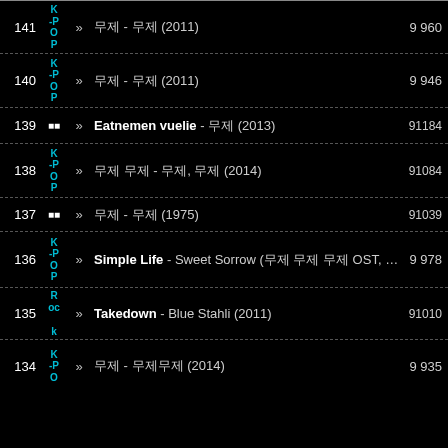141 K-POP >> 한국어곡 - 한국어곡 (2011) 9 960
140 K-POP >> 한국어곡 - 한국어곡 (2011) 9 946
139 >> Eatnemen vuelie - 외국어곡 (2013) 91184
138 K-POP >> 한국어곡 한국어 - 한국어, 한국어곡 (2014) 91084
137 >> 한국어 - 한국어곡 (1975) 91039
136 K-POP >> Simple Life - Sweet Sorrow (한국어 한국어 한국어 OST, 2007) 9 978
135 Rock >> Takedown - Blue Stahli (2011) 91010
134 K-POP >> 한국어곡 - 한국어곡곡 (2014) 9 935